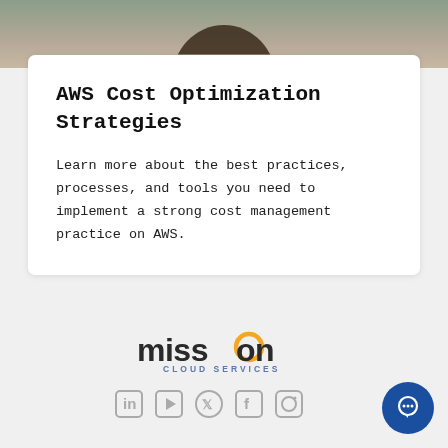[Figure (photo): Partial photo of a person at the top of the page, cropped to a strip]
AWS Cost Optimization Strategies
Learn more about the best practices, processes, and tools you need to implement a strong cost management practice on AWS.
[Figure (logo): Mission Cloud Services logo with orange 'o' accent and subtitle CLOUD SERVICES]
[Figure (infographic): Row of social media icons: LinkedIn, YouTube, Twitter/X, Facebook, Instagram]